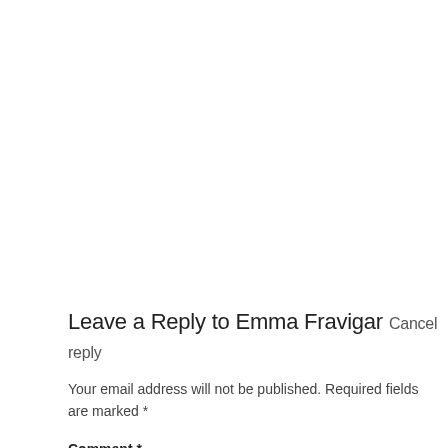Leave a Reply to Emma Fravigar Cancel reply
Your email address will not be published. Required fields are marked *
Comment *